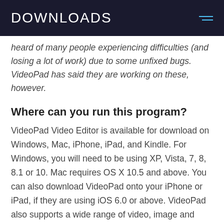DOWNLOADS
heard of many people experiencing difficulties (and losing a lot of work) due to some unfixed bugs. VideoPad has said they are working on these, however.
Where can you run this program?
VideoPad Video Editor is available for download on Windows, Mac, iPhone, iPad, and Kindle. For Windows, you will need to be using XP, Vista, 7, 8, 8.1 or 10. Mac requires OS X 10.5 and above. You can also download VideoPad onto your iPhone or iPad, if they are using iOS 6.0 or above. VideoPad also supports a wide range of video, image and audio files, which means it is compatible with almost all video recorders. In terms of output, you can burn to DVD, CD or BLU Ray, upload it to your mobile phone, iPad, PSP or share it on Youtube, Vimeo or Flickr...